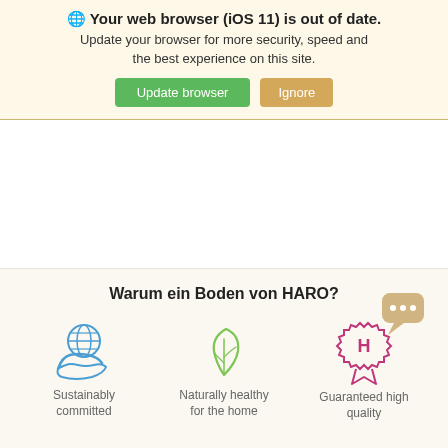🌐 Your web browser (iOS 11) is out of date. Update your browser for more security, speed and the best experience on this site.
Update browser | Ignore
Warum ein Boden von HARO?
[Figure (illustration): Blue icon of a hand holding a globe]
Sustainably committed
[Figure (illustration): Green leaf icon]
Naturally healthy for the home
[Figure (illustration): Pink/magenta HARO quality seal badge with H letter, and a tan/gold chat bubble with three dots overlay]
Guaranteed high quality